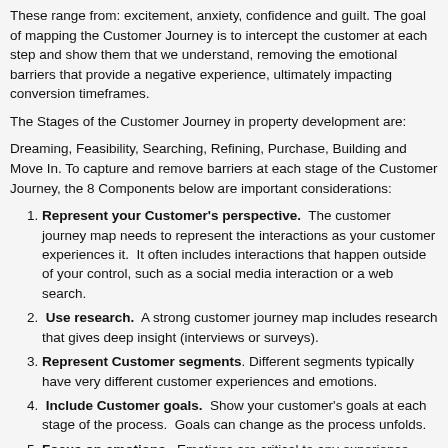These range from: excitement, anxiety, confidence and guilt. The goal of mapping the Customer Journey is to intercept the customer at each step and show them that we understand, removing the emotional barriers that provide a negative experience, ultimately impacting conversion timeframes.
The Stages of the Customer Journey in property development are:
Dreaming, Feasibility, Searching, Refining, Purchase, Building and Move In. To capture and remove barriers at each stage of the Customer Journey, the 8 Components below are important considerations:
Represent your Customer's perspective. The customer journey map needs to represent the interactions as your customer experiences it. It often includes interactions that happen outside of your control, such as a social media interaction or a web search.
Use research. A strong customer journey map includes research that gives deep insight (interviews or surveys).
Represent Customer segments. Different segments typically have very different customer experiences and emotions.
Include Customer goals. Show your customer's goals at each stage of the process. Goals can change as the process unfolds.
Focus on emotions. Emotions are critical to any experience